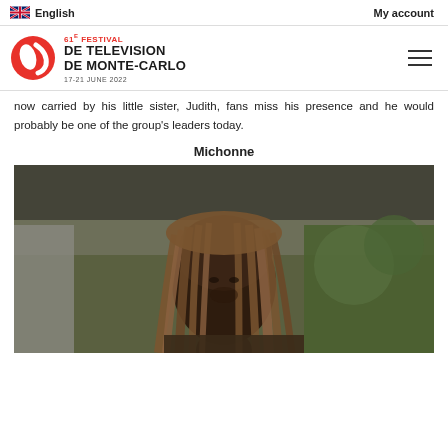English   My account
[Figure (logo): 61e Festival de Television de Monte-Carlo logo, 17-21 June 2022]
now carried by his little sister, Judith, fans miss his presence and he would probably be one of the group's leaders today.
Michonne
[Figure (photo): Photo of Michonne character from The Walking Dead, a woman with dreadlocks looking forward, outdoor setting with greenery in background]